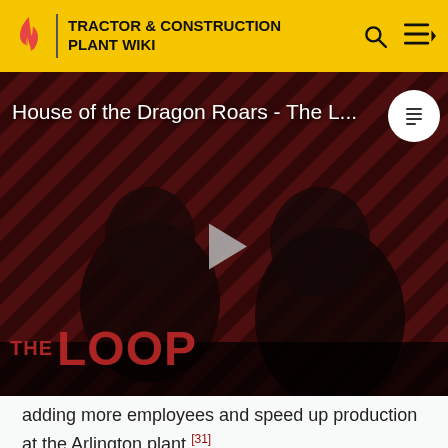TRACTOR & CONSTRUCTION PLANT WIKI
[Figure (screenshot): Video thumbnail for 'House of the Dragon Roars - The L...' showing two figures on a red diagonal-striped background with 'THE LOOP' text overlay, a play button in the center, and a NaN:NaN timer badge in the bottom right.]
adding more employees and speed up production at the Arlington plant.[31]
Recalls
On May 20, 2014, GM announced that it was recalling